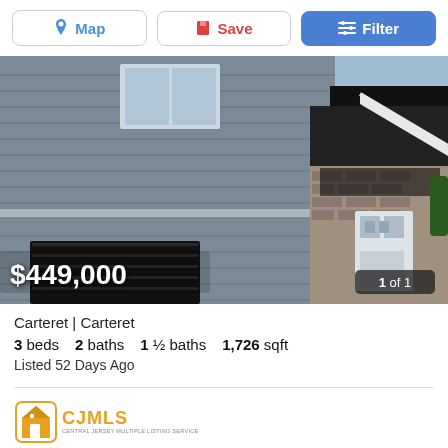[Figure (screenshot): Top navigation bar with Map, Save, and Filter buttons]
[Figure (photo): Exterior photo of a two-story house with gray vinyl siding, black roof, brick accent, garage door, and front entry door. Price overlay shows $449,000 and counter shows 1 of 1.]
Carteret | Carteret
3 beds   2 baths   1 ½ baths   1,726 sqft
Listed 52 Days Ago
[Figure (logo): CJMLS logo with house icon and text CJMLS CENTRAL JERSEY MULTIPLE LISTING SERVICE]